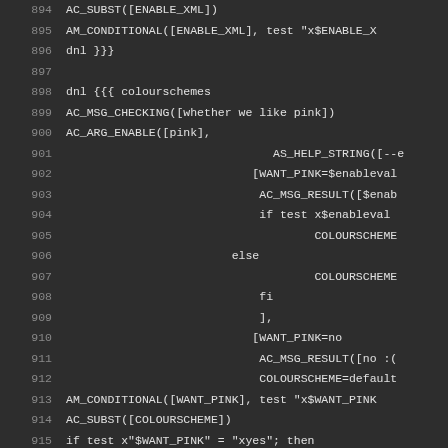[Figure (screenshot): Code editor screenshot showing autoconf/m4 script lines 894-921 on dark background, with content about colourschemes configuration including AC_CONDITIONAL, AM_CONDITIONAL, AC_ARG_ENABLE, COLOURSCHEME, and AC_DEFINE macros.]